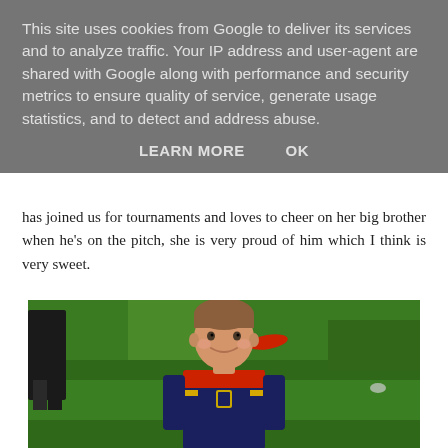This site uses cookies from Google to deliver its services and to analyze traffic. Your IP address and user-agent are shared with Google along with performance and security metrics to ensure quality of service, generate usage statistics, and to detect and address abuse.
LEARN MORE    OK
has joined us for tournaments and loves to cheer on her big brother when he's on the pitch, she is very proud of him which I think is very sweet.
[Figure (photo): A young boy with short brown hair, smiling, wearing a navy, red, and gold sports jersey with a crest/badge, standing on a green grass pitch. An adult figure is partially visible in the background on the left.]